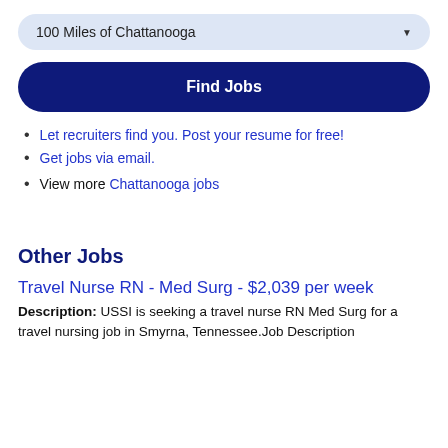100 Miles of Chattanooga
Find Jobs
Let recruiters find you. Post your resume for free!
Get jobs via email.
View more Chattanooga jobs
Other Jobs
Travel Nurse RN - Med Surg - $2,039 per week
Description: USSI is seeking a travel nurse RN Med Surg for a travel nursing job in Smyrna, Tennessee. Job Description